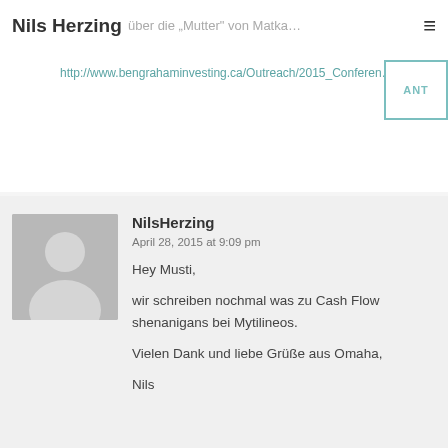Nils Herzing
http://www.bengraham.investing.ca/Outreach/2015_Conferen…
ANT
NilsHerzing
April 28, 2015 at 9:09 pm
Hey Musti,

wir schreiben nochmal was zu Cash Flow shenanigans bei Mytilineos.

Vielen Dank und liebe Grüße aus Omaha,

Nils